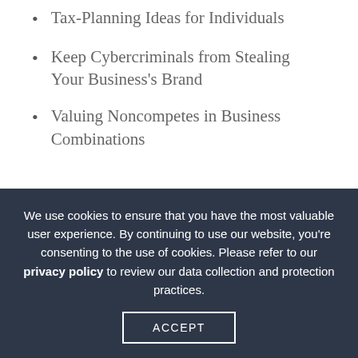Tax-Planning Ideas for Individuals
Keep Cybercriminals from Stealing Your Business's Brand
Valuing Noncompetes in Business Combinations
Share On Social Media
We use cookies to ensure that you have the most valuable user experience. By continuing to use our website, you're consenting to the use of cookies. Please refer to our privacy policy to review our data collection and protection practices.
ACCEPT